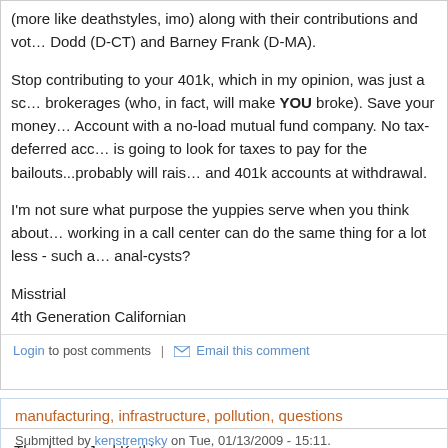(more like deathstyles, imo) along with their contributions and vote... Dodd (D-CT) and Barney Frank (D-MA).
Stop contributing to your 401k, which in my opinion, was just a sca... brokerages (who, in fact, will make YOU broke). Save your money... Account with a no-load mutual fund company. No tax-deferred acc... is going to look for taxes to pay for the bailouts...probably will rais... and 401k accounts at withdrawal.
I'm not sure what purpose the yuppies serve when you think about... working in a call center can do the same thing for a lot less - such a... anal-cysts?
Misstrial
4th Generation Californian
Login to post comments  |  Email this comment
manufacturing, infrastructure, pollution, questions
Submitted by kenstremsky on Tue, 01/13/2009 - 15:11.
Thank you Joel Kotkin.